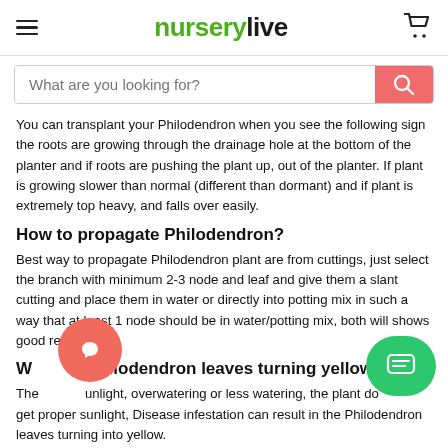nurserylive
You can transplant your Philodendron when you see the following sign the roots are growing through the drainage hole at the bottom of the planter and if roots are pushing the plant up, out of the planter. If plant is growing slower than normal (different than dormant) and if plant is extremely top heavy, and falls over easily.
How to propagate Philodendron?
Best way to propagate Philodendron plant are from cuttings, just select the branch with minimum 2-3 node and leaf and give them a slant cutting and place them in water or directly into potting mix in such a way that at least 1 node should be in water/potting mix, both will shows good result.
Why are Philodendron leaves turning yellow?
The sunlight, overwatering or less watering, the plant does not get proper sunlight, Disease infestation can result in the Philodendron leaves turning into yellow.